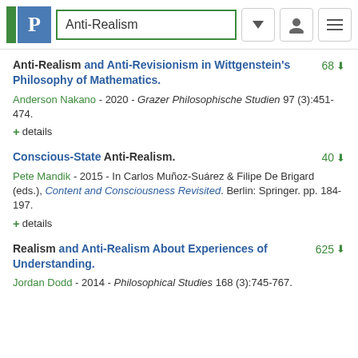Anti-Realism
Anti-Realism and Anti-Revisionism in Wittgenstein's Philosophy of Mathematics.
Anderson Nakano - 2020 - Grazer Philosophische Studien 97 (3):451-474.
+ details
Conscious-State Anti-Realism.
Pete Mandik - 2015 - In Carlos Muñoz-Suárez & Filipe De Brigard (eds.), Content and Consciousness Revisited. Berlin: Springer. pp. 184-197.
+ details
Realism and Anti-Realism About Experiences of Understanding.
Jordan Dodd - 2014 - Philosophical Studies 168 (3):745-767.